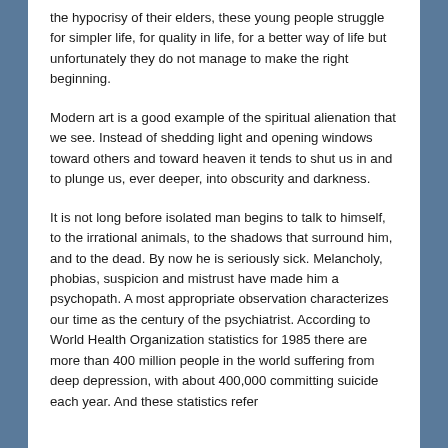the hypocrisy of their elders, these young people struggle for simpler life, for quality in life, for a better way of life but unfortunately they do not manage to make the right beginning.
Modern art is a good example of the spiritual alienation that we see. Instead of shedding light and opening windows toward others and toward heaven it tends to shut us in and to plunge us, ever deeper, into obscurity and darkness.
It is not long before isolated man begins to talk to himself, to the irrational animals, to the shadows that surround him, and to the dead. By now he is seriously sick. Melancholy, phobias, suspicion and mistrust have made him a psychopath. A most appropriate observation characterizes our time as the century of the psychiatrist. According to World Health Organization statistics for 1985 there are more than 400 million people in the world suffering from deep depression, with about 400,000 committing suicide each year. And these statistics refer